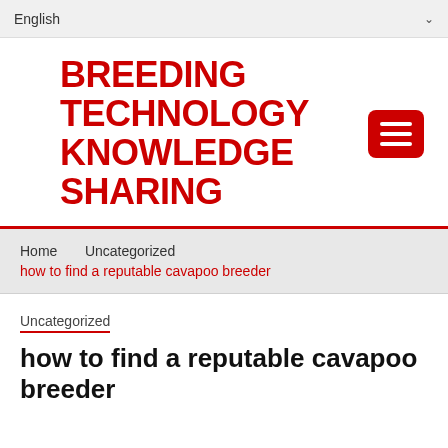English
BREEDING TECHNOLOGY KNOWLEDGE SHARING
Home  Uncategorized
how to find a reputable cavapoo breeder
Uncategorized
how to find a reputable cavapoo breeder